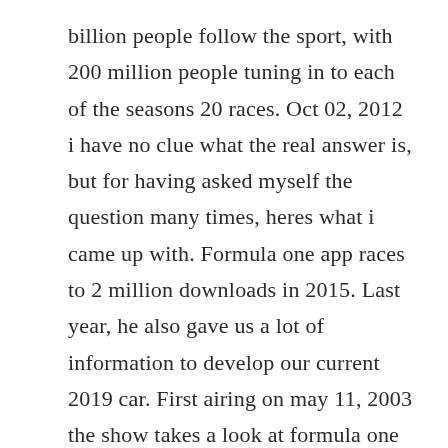billion people follow the sport, with 200 million people tuning in to each of the seasons 20 races. Oct 02, 2012 i have no clue what the real answer is, but for having asked myself the question many times, heres what i came up with. Formula one app races to 2 million downloads in 2015. Last year, he also gave us a lot of information to develop our current 2019 car. First airing on may 11, 2003 the show takes a look at formula one grand prix events that were run 10 years prior to the present season. Latest news and analysis